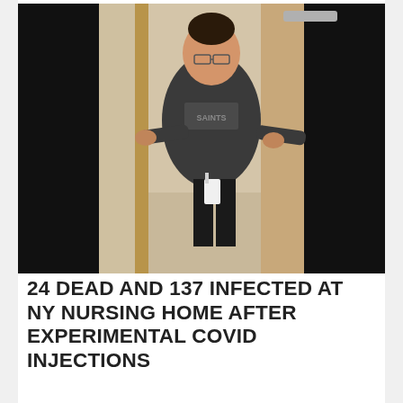[Figure (photo): A woman wearing a dark grey Saints sweatshirt and black pants stands in a bathroom doorway, leaning against the door frame with both arms outstretched. She wears glasses and has her hair up. A white lanyard/badge hangs from her waist. The bathroom interior is visible behind her with beige walls and a towel rack.]
24 DEAD AND 137 INFECTED AT NY NURSING HOME AFTER EXPERIMENTAL COVID INJECTIONS